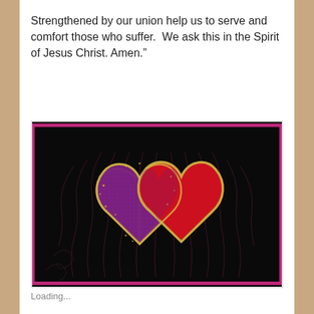Strengthened by our union help us to serve and comfort those who suffer.  We ask this in the Spirit of Jesus Christ. Amen.”
[Figure (illustration): Artwork showing two overlapping hearts on a dark/black background with pink/purple border and radiating lines. Left heart is purple/violet with gold outline, right heart is red with gold outline. Decorative textile or mixed-media art piece.]
Loading...